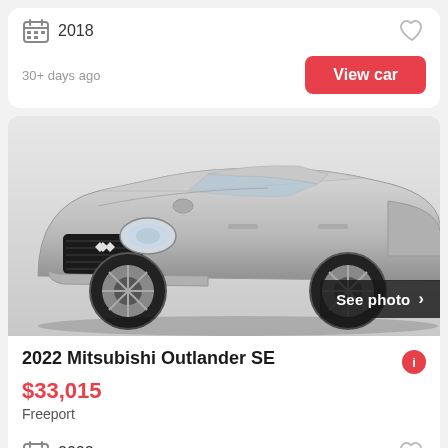2018
30+ days ago
View car
[Figure (photo): Silver 2022 Mitsubishi Outlander SE SUV, front three-quarter view on white background, with 'See photo >' button overlay in bottom right]
2022 Mitsubishi Outlander SE
$33,015
Freeport
2022